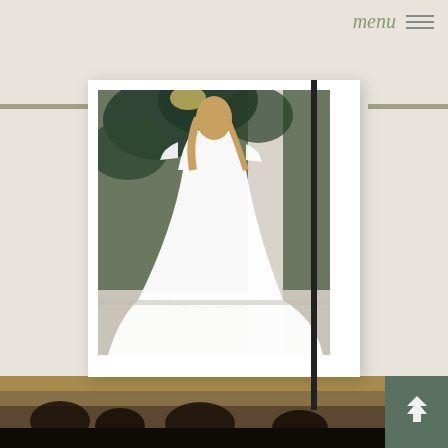menu ☰
[Figure (photo): A bride wearing a white off-the-shoulder ballgown/mermaid wedding dress with a long train, viewed from behind, standing in front of tropical green foliage. The photo is displayed in a white mat/frame with decorative horizontal rail lines.]
MERLOT
Martina Liana
[Figure (photo): Partial bottom strip showing a warm outdoor landscape with trees at dusk/sunset, partially cut off at the bottom of the page.]